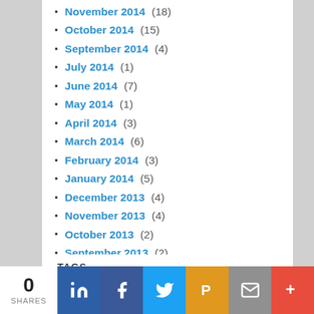November 2014 (18)
October 2014 (15)
September 2014 (4)
July 2014 (1)
June 2014 (7)
May 2014 (1)
April 2014 (3)
March 2014 (6)
February 2014 (3)
January 2014 (5)
December 2013 (4)
November 2013 (4)
October 2013 (2)
September 2013 (2)
August 2013 (7)
July 2013 (4)
June 2013 (8)
TAGS